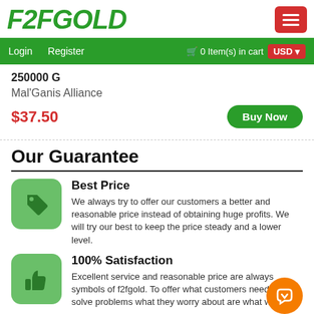F2FGOLD
Login   Register    0 Item(s) in cart   USD
250000 G
Mal'Ganis Alliance
$37.50
Buy Now
Our Guarantee
Best Price
We always try to offer our customers a better and reasonable price instead of obtaining huge profits. We will try our best to keep the price steady and a lower level.
100% Satisfaction
Excellent service and reasonable price are always symbols of f2fgold. To offer what customers need and to solve problems what they worry about are what we